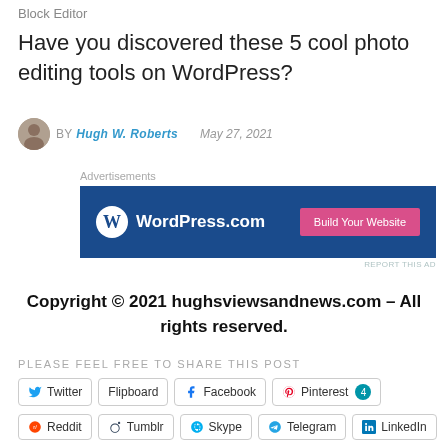Block Editor
Have you discovered these 5 cool photo editing tools on WordPress?
BY Hugh W. Roberts   May 27, 2021
Advertisements
[Figure (screenshot): WordPress.com advertisement banner with blue background, WordPress logo on the left and a pink 'Build Your Website' button on the right. 'REPORT THIS AD' link in bottom right.]
Copyright © 2021 hughsviewsandnews.com – All rights reserved.
PLEASE FEEL FREE TO SHARE THIS POST
Twitter
Flipboard
Facebook
Pinterest 4
Reddit
Tumblr
Skype
Telegram
LinkedIn